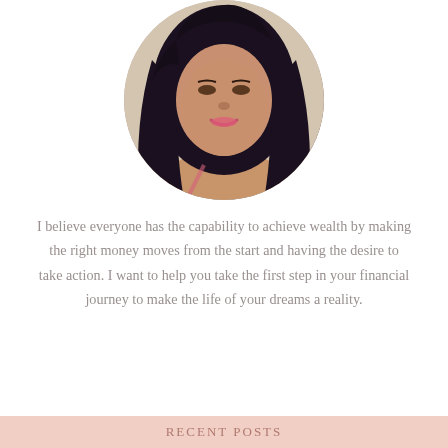[Figure (photo): Circular cropped portrait photo of a young woman with long dark hair and pink lipstick, smiling, against a light beige background.]
I believe everyone has the capability to achieve wealth by making the right money moves from the start and having the desire to take action. I want to help you take the first step in your financial journey to make the life of your dreams a reality.
RECENT POSTS